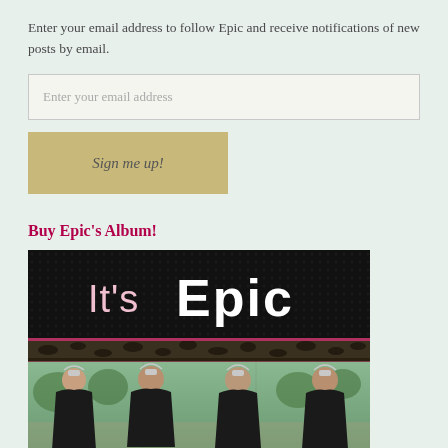Enter your email address to follow Epic and receive notifications of new posts by email.
[Figure (screenshot): Email input field placeholder reading 'Enter your email address']
[Figure (screenshot): Gold/tan button with italic text 'Sign me up!']
Buy Epic's Album!
[Figure (photo): Album cover image for 'It's Epic' showing text logo on dark leopard print background, with a photo below of four women wearing crowns and black outfits outdoors.]